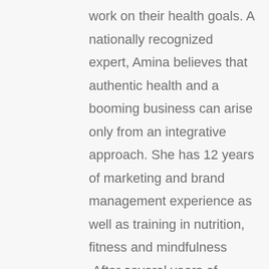work on their health goals. A nationally recognized expert, Amina believes that authentic health and a booming business can arise only from an integrative approach. She has 12 years of marketing and brand management experience as well as training in nutrition, fitness and mindfulness .After several years of pushing her physical limits in order to achieve business success, Amina experienced her own burnout,